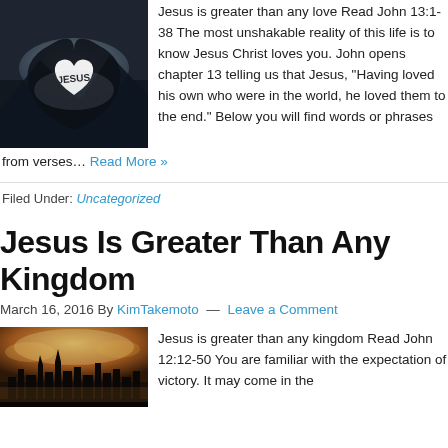[Figure (photo): Hands forming a heart shape with the word JESUS written inside, silhouetted against a mountain landscape.]
Jesus is greater than any love Read John 13:1-38 The most unshakable reality of this life is to know Jesus Christ loves you. John opens chapter 13 telling us that Jesus, “Having loved his own who were in the world, he loved them to the end.” Below you will find words or phrases from verses... Read More »
Filed Under: Uncategorized
Jesus Is Greater Than Any Kingdom
March 16, 2016 By KimTakemoto — Leave a Comment
[Figure (photo): Dramatic image of an ancient city or kingdom with glowing sky and storm clouds.]
Jesus is greater than any kingdom Read John 12:12-50 You are familiar with the expectation of victory. It may come in the